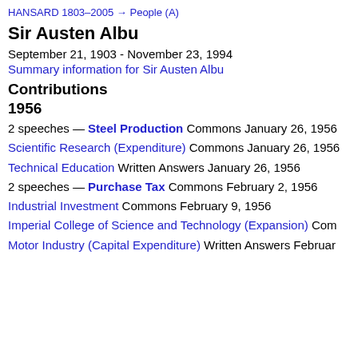HANSARD 1803–2005 → People (A)
Sir Austen Albu
September 21, 1903 - November 23, 1994
Summary information for Sir Austen Albu
Contributions
1956
2 speeches — Steel Production Commons January 26, 1956
Scientific Research (Expenditure) Commons January 26, 1956
Technical Education Written Answers January 26, 1956
2 speeches — Purchase Tax Commons February 2, 1956
Industrial Investment Commons February 9, 1956
Imperial College of Science and Technology (Expansion) Commons…
Motor Industry (Capital Expenditure) Written Answers February…